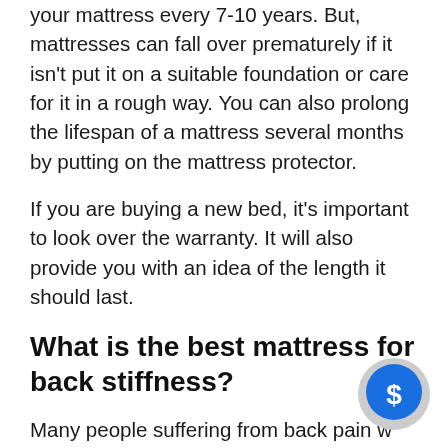your mattress every 7-10 years. But, mattresses can fall over prematurely if it isn't put it on a suitable foundation or care for it in a rough way. You can also prolong the lifespan of a mattress several months by putting on the mattress protector.
If you are buying a new bed, it's important to look over the warranty. It will also provide you with an idea of the length it should last.
What is the best mattress for back stiffness?
Many people suffering from back pain will find that a medium or firm mattress is best for those with back pain. This kind of bed will aid in keeping your spine straight throughout
[Figure (illustration): Chat bubble icon with dollar sign in blue circle on grey background]